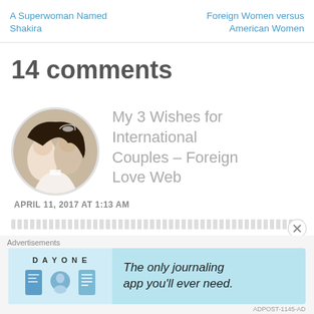A Superwoman Named Shakira | Foreign Women versus American Women
14 comments
[Figure (photo): Circular avatar photo of a couple in wedding attire]
My 3 Wishes for International Couples – Foreign Love Web
APRIL 11, 2017 AT 1:13 AM
[Figure (infographic): DayOne journaling app advertisement banner: 'The only journaling app you'll ever need.']